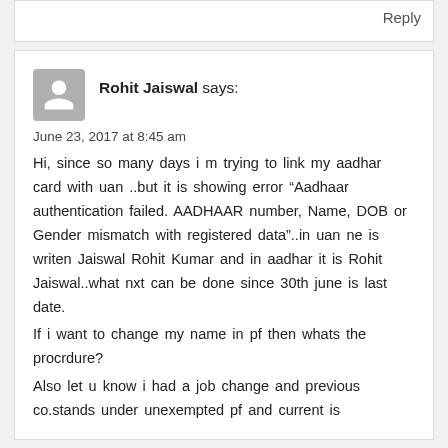Reply
Rohit Jaiswal says:
June 23, 2017 at 8:45 am
Hi, since so many days i m trying to link my aadhar card with uan ..but it is showing error “Aadhaar authentication failed. AADHAAR number, Name, DOB or Gender mismatch with registered data”..in uan ne is writen Jaiswal Rohit Kumar and in aadhar it is Rohit Jaiswal..what nxt can be done since 30th june is last date.
If i want to change my name in pf then whats the procrdure?
Also let u know i had a job change and previous co.stands under unexempted pf and current is